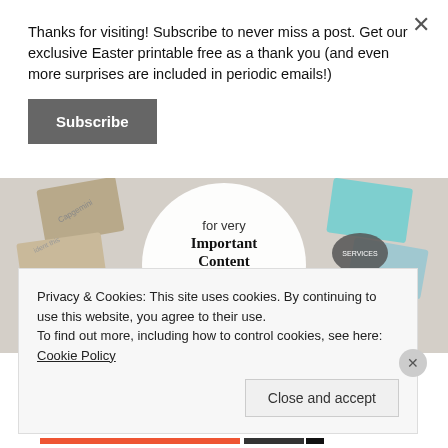Thanks for visiting! Subscribe to never miss a post. Get our exclusive Easter printable free as a thank you (and even more surprises are included in periodic emails!)
Subscribe
[Figure (screenshot): Partial screenshot of a webpage showing 'for very Important Content' with WordPress VIP logo and 'Learn more' link, with brand logos like Merck visible in background]
Privacy & Cookies: This site uses cookies. By continuing to use this website, you agree to their use.
To find out more, including how to control cookies, see here: Cookie Policy
Close and accept